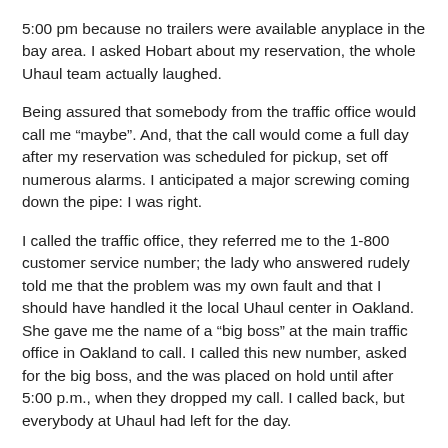5:00 pm because no trailers were available anyplace in the bay area. I asked Hobart about my reservation, the whole Uhaul team actually laughed.
Being assured that somebody from the traffic office would call me “maybe”. And, that the call would come a full day after my reservation was scheduled for pickup, set off numerous alarms. I anticipated a major screwing coming down the pipe: I was right.
I called the traffic office, they referred me to the 1-800 customer service number; the lady who answered rudely told me that the problem was my own fault and that I should have handled it the local Uhaul center in Oakland. She gave me the name of a “big boss” at the main traffic office in Oakland to call. I called this new number, asked for the big boss, and the was placed on hold until after 5:00 p.m., when they dropped my call. I called back, but everybody at Uhaul had left for the day.
The next morning I stopped by a Berkeley based Uhaul retal office because it was close to my hotel and they had a trailer